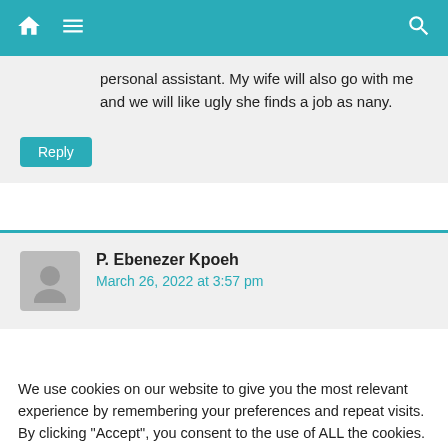Navigation bar with home icon, menu icon, and search icon
personal assistant. My wife will also go with me and we will like ugly she finds a job as nany.
Reply
P. Ebenezer Kpoeh
March 26, 2022 at 3:57 pm
We use cookies on our website to give you the most relevant experience by remembering your preferences and repeat visits. By clicking “Accept”, you consent to the use of ALL the cookies.
Reject.
Cookie Settings  Accept